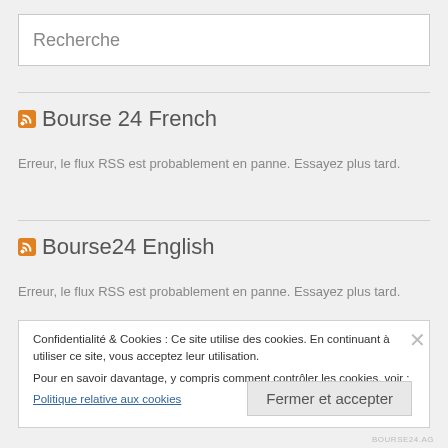Recherche
Bourse 24 French
Erreur, le flux RSS est probablement en panne. Essayez plus tard.
Bourse24 English
Erreur, le flux RSS est probablement en panne. Essayez plus tard.
Confidentialité & Cookies : Ce site utilise des cookies. En continuant à utiliser ce site, vous acceptez leur utilisation.
Pour en savoir davantage, y compris comment contrôler les cookies, voir :
Politique relative aux cookies
Fermer et accepter